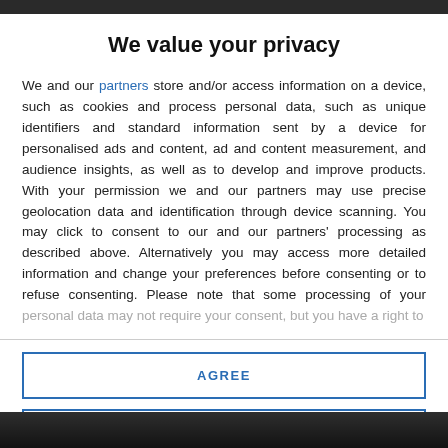We value your privacy
We and our partners store and/or access information on a device, such as cookies and process personal data, such as unique identifiers and standard information sent by a device for personalised ads and content, ad and content measurement, and audience insights, as well as to develop and improve products. With your permission we and our partners may use precise geolocation data and identification through device scanning. You may click to consent to our and our partners' processing as described above. Alternatively you may access more detailed information and change your preferences before consenting or to refuse consenting. Please note that some processing of your personal data may not require your consent, but you have a right to
AGREE
MORE OPTIONS
[Figure (photo): Dark background photo at the bottom of the page]